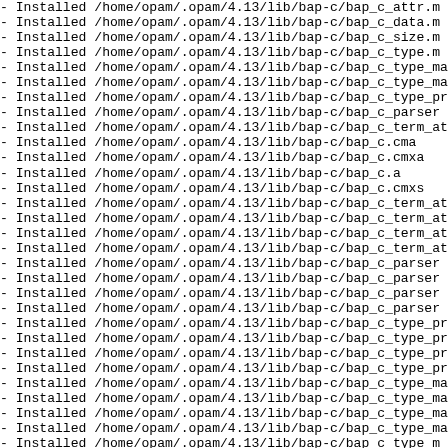- Installed /home/opam/.opam/4.13/lib/bap-c/bap_c_attr.m
- Installed /home/opam/.opam/4.13/lib/bap-c/bap_c_data.m
- Installed /home/opam/.opam/4.13/lib/bap-c/bap_c_size.m
- Installed /home/opam/.opam/4.13/lib/bap-c/bap_c_type.m
- Installed /home/opam/.opam/4.13/lib/bap-c/bap_c_type_ma
- Installed /home/opam/.opam/4.13/lib/bap-c/bap_c_type_ma
- Installed /home/opam/.opam/4.13/lib/bap-c/bap_c_type_pr
- Installed /home/opam/.opam/4.13/lib/bap-c/bap_c_parser
- Installed /home/opam/.opam/4.13/lib/bap-c/bap_c_term_at
- Installed /home/opam/.opam/4.13/lib/bap-c/bap_c.cma
- Installed /home/opam/.opam/4.13/lib/bap-c/bap_c.cmxa
- Installed /home/opam/.opam/4.13/lib/bap-c/bap_c.a
- Installed /home/opam/.opam/4.13/lib/bap-c/bap_c.cmxs
- Installed /home/opam/.opam/4.13/lib/bap-c/bap_c_term_at
- Installed /home/opam/.opam/4.13/lib/bap-c/bap_c_term_at
- Installed /home/opam/.opam/4.13/lib/bap-c/bap_c_term_at
- Installed /home/opam/.opam/4.13/lib/bap-c/bap_c_term_at
- Installed /home/opam/.opam/4.13/lib/bap-c/bap_c_parser
- Installed /home/opam/.opam/4.13/lib/bap-c/bap_c_parser
- Installed /home/opam/.opam/4.13/lib/bap-c/bap_c_parser
- Installed /home/opam/.opam/4.13/lib/bap-c/bap_c_parser
- Installed /home/opam/.opam/4.13/lib/bap-c/bap_c_type_pr
- Installed /home/opam/.opam/4.13/lib/bap-c/bap_c_type_pr
- Installed /home/opam/.opam/4.13/lib/bap-c/bap_c_type_pr
- Installed /home/opam/.opam/4.13/lib/bap-c/bap_c_type_pr
- Installed /home/opam/.opam/4.13/lib/bap-c/bap_c_type_ma
- Installed /home/opam/.opam/4.13/lib/bap-c/bap_c_type_ma
- Installed /home/opam/.opam/4.13/lib/bap-c/bap_c_type_ma
- Installed /home/opam/.opam/4.13/lib/bap-c/bap_c_type_ma
- Installed /home/opam/.opam/4.13/lib/bap-c/bap_c_type_m